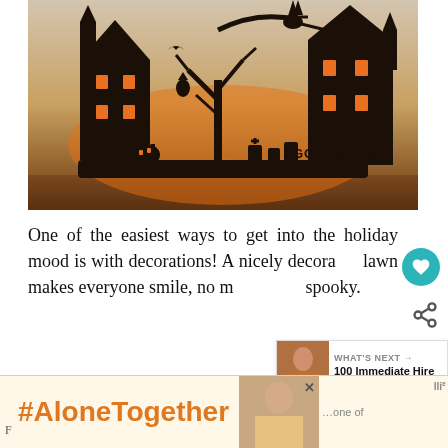[Figure (photo): Halloween-themed laser-cut wooden silhouette decoration with backlit warm orange glow, showing haunted houses, flying witch, trees, pumpkins, gravestones, and the word GOLDORAS, placed on a wooden surface]
One of the easiest ways to get into the holiday mood is with decorations! A nicely decorated lawn makes everyone smile, no matter how spooky.
[Figure (infographic): Bottom advertisement banner with light yellow background showing #AloneTogether hashtag in orange bold text, and a partial photo of a woman on the right side with an X close button]